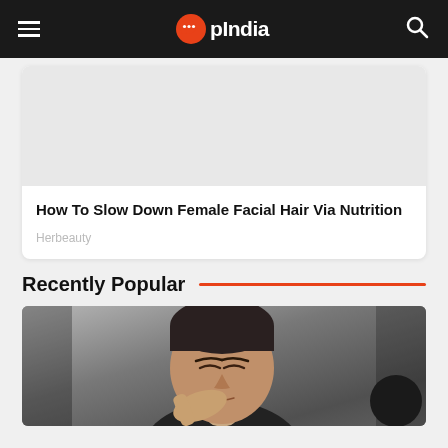OpIndia
How To Slow Down Female Facial Hair Via Nutrition
Herbeauty
Recently Popular
[Figure (photo): Photo of a middle-aged man with eyes closed, hand raised to face, appearing stressed or tired, with a blurred background]